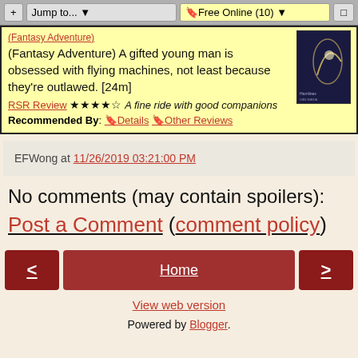+ Jump to...  🔖Free Online (10)  🔲
(Fantasy Adventure) A gifted young man is obsessed with flying machines, not least because they're outlawed. [24m]
RSR Review ★★★★☆ A fine ride with good companions
Recommended By: 🔖Details 🔖Other Reviews
EFWong at 11/26/2019 03:21:00 PM
No comments (may contain spoilers):
Post a Comment (comment policy)
< Home >
View web version
Powered by Blogger.